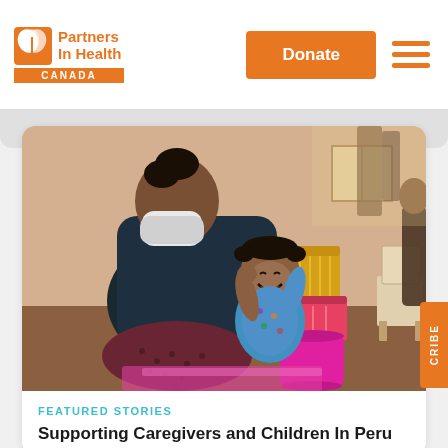[Figure (logo): Partners In Health Canada logo with orange leaf icon and CANADA text bar]
Donate
[Figure (photo): A masked woman playing with a smiling toddler indoors, stacking colorful cylindrical containers]
FEATURED STORIES
Supporting Caregivers and Children In Peru